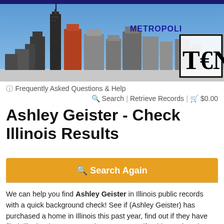[Figure (photo): Chicago skyline banner with blue sky background and city skyscrapers, METROPOLI text and logo visible on right side]
Frequently Asked Questions & Help
Search | Retrieve Records | $0.00
Ashley Geister - Check Illinois Results
Search Again
We can help you find Ashley Geister in Illinois public records with a quick background check! See if (Ashley Geister) has purchased a home in Illinois this past year, find out if they have filed Illinois Chapter 13 Bankruptcy, or see if Ashley Geister has a Federal Tax